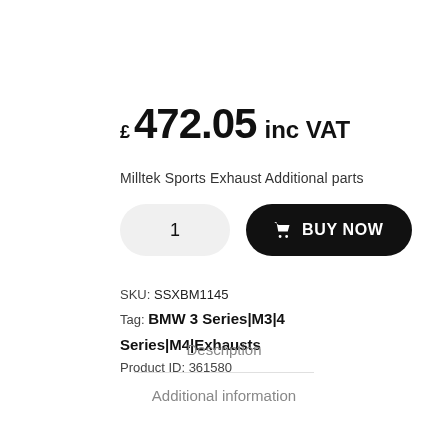£ 472.05 inc VAT
Milltek Sports Exhaust Additional parts
1  BUY NOW
SKU: SSXBM1145
Tag: BMW 3 Series|M3|4 Series|M4|Exhausts
Product ID: 361580
Description
Additional information